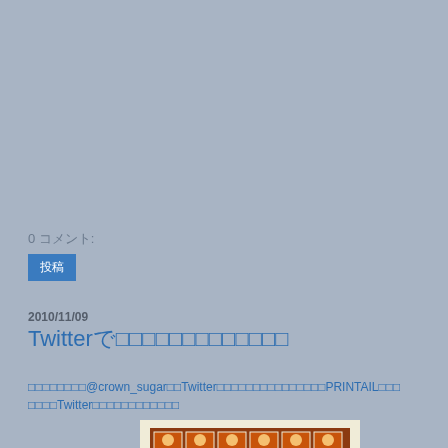0 コメント:
投稿
2010/11/09
Twitterで□□□□□□□□□□□□□
□□□□□□□□@crown_sugar□□Twitter□□□□□□□□□□□□□□□PRINTAIL□□□□□□□Twitter□□□□□□□□□□□□□□□
[Figure (photo): A sheet of stamps featuring cartoon faces with raised hands on a dark red/brown background, arranged in rows.]